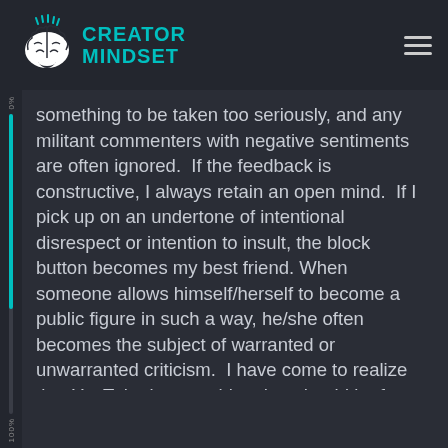Creator Mindset
something to be taken too seriously, and any militant commenters with negative sentiments are often ignored.  If the feedback is constructive, I always retain an open mind.  If I pick up on an undertone of intentional disrespect or intention to insult, the block button becomes my best friend. When someone allows himself/herself to become a public figure in such a way, he/she often becomes the subject of warranted or unwarranted criticism.  I have come to realize that YouTube is something that should be fun and not something to create unwanted stress.  Once it stops being fun, then I'm out.